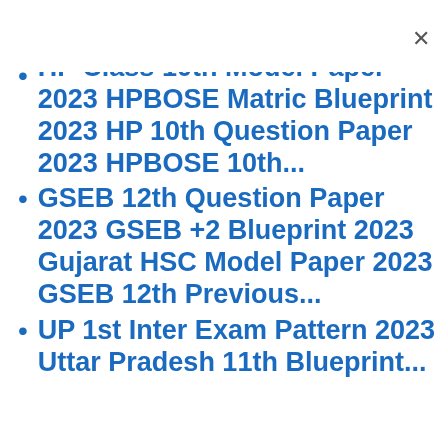HP Class 10th Model Paper 2023 HPBOSE Matric Blueprint 2023 HP 10th Question Paper 2023 HPBOSE 10th...
GSEB 12th Question Paper 2023 GSEB +2 Blueprint 2023 Gujarat HSC Model Paper 2023 GSEB 12th Previous...
UP 1st Inter Exam Pattern 2023 Uttar Pradesh 11th Blueprint...